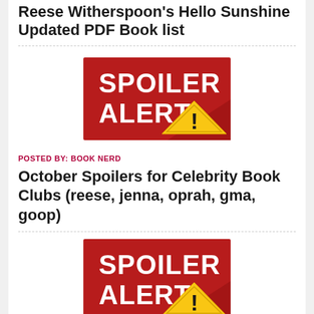Reese Witherspoon's Hello Sunshine Updated PDF Book list
[Figure (illustration): Spoiler Alert image — red background with white bold text SPOILER ALERT and a yellow warning triangle with exclamation mark]
POSTED BY: BOOK NERD
October Spoilers for Celebrity Book Clubs (reese, jenna, oprah, gma, goop)
[Figure (illustration): Spoiler Alert image — red background with white bold text SPOILER ALERT and a yellow warning triangle with exclamation mark]